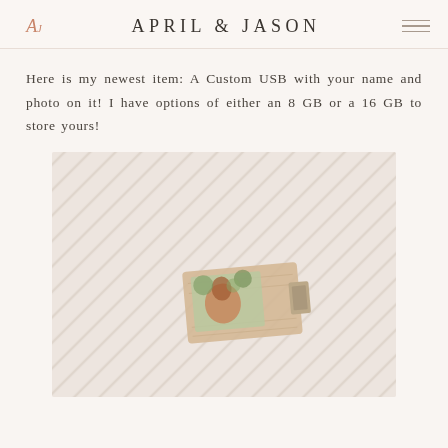APRIL & JASON
Here is my newest item: A Custom USB with your name and photo on it! I have options of either an 8 GB or a 16 GB to store yours!
[Figure (photo): A custom wooden USB drive with a photo printed on it, sitting on a white textured surface with diagonal stripe pattern. The USB shows an image of a bird/turkey.]